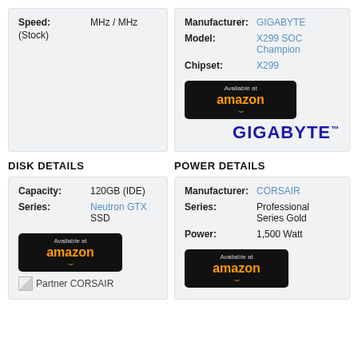| Field | Value |
| --- | --- |
| Speed: | MHz / MHz |
| (Stock) |  |
| Field | Value |
| --- | --- |
| Manufacturer: | GIGABYTE |
| Model: | X299 SOC Champion |
| Chipset: | X299 |
[Figure (logo): Available at Amazon button]
[Figure (logo): GIGABYTE logo in blue bold text with trademark symbol]
DISK DETAILS
POWER DETAILS
| Field | Value |
| --- | --- |
| Capacity: | 120GB (IDE) |
| Series: | Neutron GTX SSD |
[Figure (logo): Available at Amazon button]
[Figure (logo): Partner CORSAIR logo/image with text]
| Field | Value |
| --- | --- |
| Manufacturer: | CORSAIR |
| Series: | Professional Series Gold |
| Power: | 1,500 Watt |
[Figure (logo): Available at Amazon button]